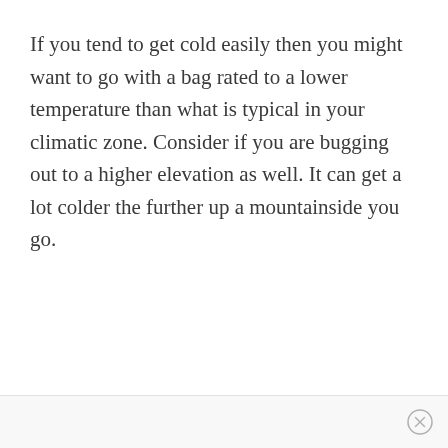If you tend to get cold easily then you might want to go with a bag rated to a lower temperature than what is typical in your climatic zone. Consider if you are bugging out to a higher elevation as well. It can get a lot colder the further up a mountainside you go.